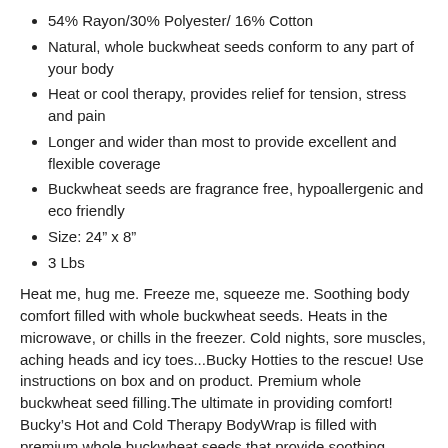54% Rayon/30% Polyester/ 16% Cotton
Natural, whole buckwheat seeds conform to any part of your body
Heat or cool therapy, provides relief for tension, stress and pain
Longer and wider than most to provide excellent and flexible coverage
Buckwheat seeds are fragrance free, hypoallergenic and eco friendly
Size: 24" x 8"
3 Lbs
Heat me, hug me. Freeze me, squeeze me. Soothing body comfort filled with whole buckwheat seeds. Heats in the microwave, or chills in the freezer. Cold nights, sore muscles, aching heads and icy toes...Bucky Hotties to the rescue! Use instructions on box and on product. Premium whole buckwheat seed filling.The ultimate in providing comfort! Bucky's Hot and Cold Therapy BodyWrap is filled with premium whole buckwheat seeds that provide soothing comfort and can be heated in the microwave or chilled in the freezer.
The Bodywrap is longer and wider than most to provide excellent and flexible coverage. Buckwheat seeds are the